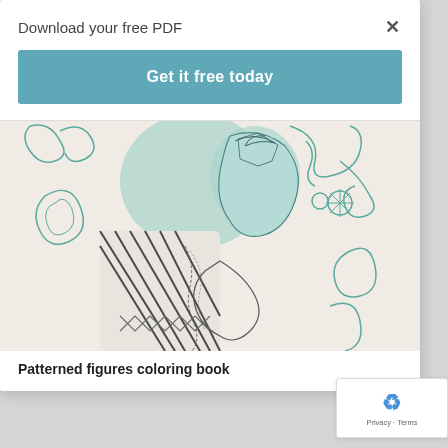Download your free PDF
Get it free today
[Figure (illustration): A coloring book illustration showing a decorative figure with intricate patterns, swirling floral/organic motifs in teal outline, with detailed cross-hatching on clothing. The figure is shown in profile with ornate background designs.]
Patterned figures coloring book